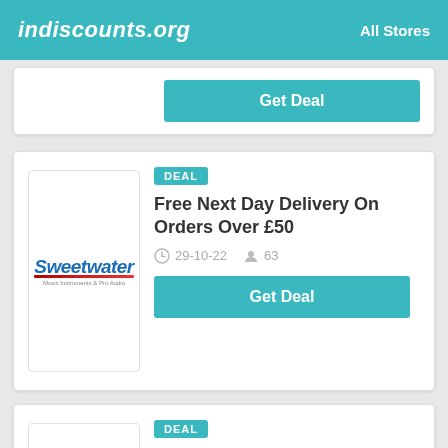indiscounts.org   All Stores
Get Deal
[Figure (logo): Sweetwater logo]
DEAL
Free Next Day Delivery On Orders Over £50
29-10-22   63
Get Deal
[Figure (logo): Sweetwater logo]
DEAL
Free Delivery On Selected Products